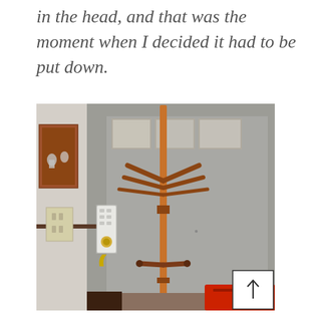in the head, and that was the moment when I decided it had to be put down.
[Figure (photo): A wooden coat rack / stand leaning against a gray door in an entryway or hallway. The rack has horizontal pegs at the top and middle. To the left of the door are a wall-mounted cabinet, a light switch plate, and a door keypad/lock. The door has small windows at the top. In the bottom right corner is a navigation arrow button.]